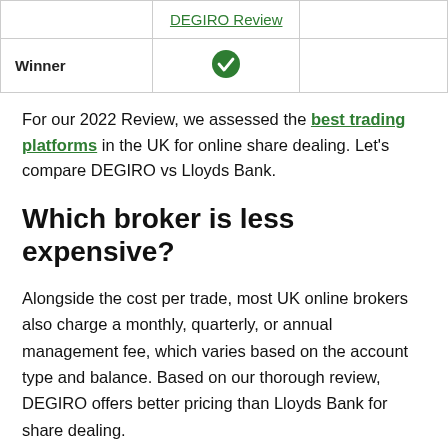|  | DEGIRO Review |  |
| --- | --- | --- |
| Winner | ✓ |  |
For our 2022 Review, we assessed the best trading platforms in the UK for online share dealing. Let's compare DEGIRO vs Lloyds Bank.
Which broker is less expensive?
Alongside the cost per trade, most UK online brokers also charge a monthly, quarterly, or annual management fee, which varies based on the account type and balance. Based on our thorough review, DEGIRO offers better pricing than Lloyds Bank for share dealing.